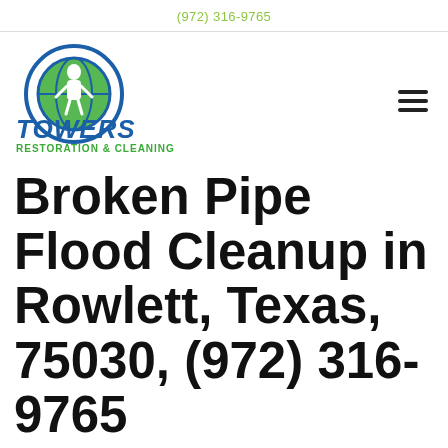(972) 316-9765
[Figure (logo): Towers Restoration & Cleaning logo with circular globe graphic and blue bold text]
Broken Pipe Flood Cleanup in Rowlett, Texas, 75030, (972) 316-9765